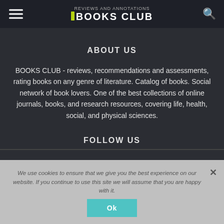BOOKS CLUB - reviews and annotations
ABOUT US
BOOKS CLUB - reviews, recommendations and assessments, rating books on any genre of literature. Catalog of books. Social network of book lovers. One of the best collections of online journals, books, and research resources, covering life, health, social, and physical sciences.
FOLLOW US
We use cookies to ensure that we give you the best experience on our website. If you continue to use this site we will assume that you are happy with it.